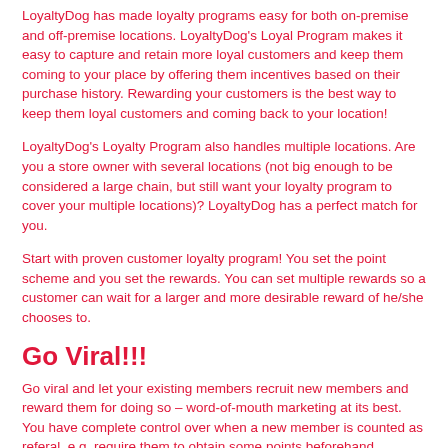LoyaltyDog has made loyalty programs easy for both on-premise and off-premise locations. LoyaltyDog's Loyal Program makes it easy to capture and retain more loyal customers and keep them coming to your place by offering them incentives based on their purchase history. Rewarding your customers is the best way to keep them loyal customers and coming back to your location!
LoyaltyDog's Loyalty Program also handles multiple locations. Are you a store owner with several locations (not big enough to be considered a large chain, but still want your loyalty program to cover your multiple locations)? LoyaltyDog has a perfect match for you.
Start with proven customer loyalty program! You set the point scheme and you set the rewards. You can set multiple rewards so a customer can wait for a larger and more desirable reward of he/she chooses to.
Go Viral!!!
Go viral and let your existing members recruit new members and reward them for doing so – word-of-mouth marketing at its best. You have complete control over when a new member is counted as referal, e.g. require them to obtain some points beforehand.
Customers
Your customers will get an easy to use and convenient digital card that they will always carry with them on their mobile phones. The days are